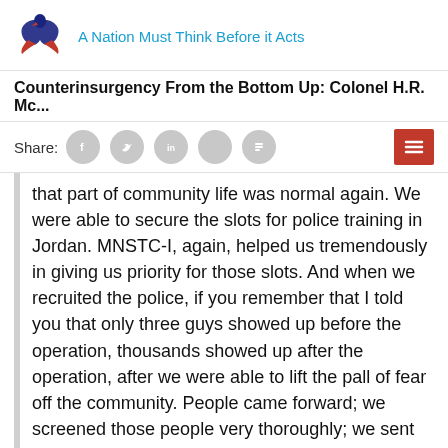A Nation Must Think Before it Acts
Counterinsurgency From the Bottom Up: Colonel H.R. Mc...
Share:
that part of community life was normal again. We were able to secure the slots for police training in Jordan. MNSTC-I, again, helped us tremendously in giving us priority for those slots. And when we recruited the police, if you remember that I told you that only three guys showed up before the operation, thousands showed up after the operation, after we were able to lift the pall of fear off the community. People came forward; we screened those people very thoroughly; we sent them for a week of military training at Kirkuk for basic weapons competency and a sort of weeding out of